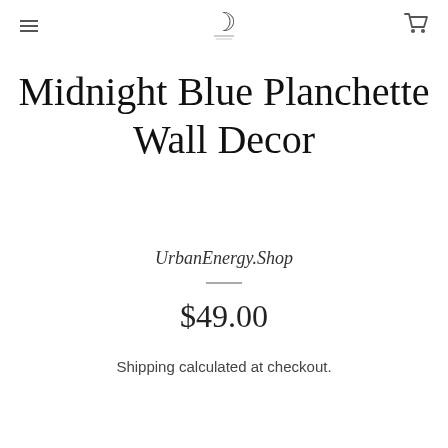UrbanEnergy.Shop navigation header with hamburger menu, moon logo, and cart icon
Midnight Blue Planchette Wall Decor
UrbanEnergy.Shop
$49.00
Shipping calculated at checkout.